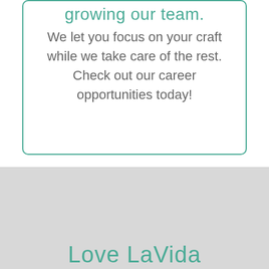growing our team.
We let you focus on your craft while we take care of the rest. Check out our career opportunities today!
Love LaVida